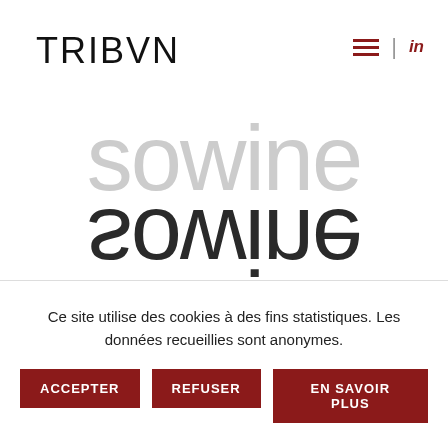TRIBVN
[Figure (logo): sowine logo displayed in large reflective/mirrored text]
Ce site utilise des cookies à des fins statistiques. Les données recueillies sont anonymes.
ACCEPTER | REFUSER | EN SAVOIR PLUS